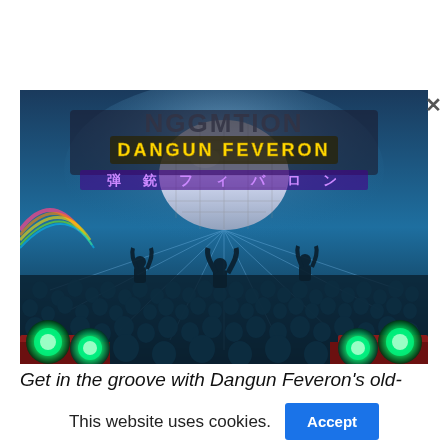[Figure (illustration): Screenshot of Dangun Feveron game artwork showing a concert/club scene with crowd silhouettes, colorful stage lights (green spotlights), a large disco ball, and the text 'DANGUN FEVERON' in stylized yellow/gold lettering with Japanese characters below, set against a blue-lit background.]
Get in the groove with Dangun Feveron's old-
This website uses cookies.
Accept
👍 Like 0
f
🐦
M